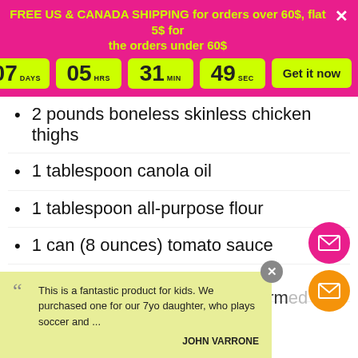FREE US & CANADA SHIPPING for orders over 60$, flat 5$ for the orders under 60$
07 DAYS  05 HRS  31 MIN  49 SEC  Get it now
2 pounds boneless skinless chicken thighs
1 tablespoon canola oil
1 tablespoon all-purpose flour
1 can (8 ounces) tomato sauce
1 tablespoon taco seasoning
1 teaspoon garlic powder
12 corn tortillas or taco shells, warmed
This is a fantastic product for kids. We purchased one for our 7yo daughter, who plays soccer and ...  JOHN VARRONE